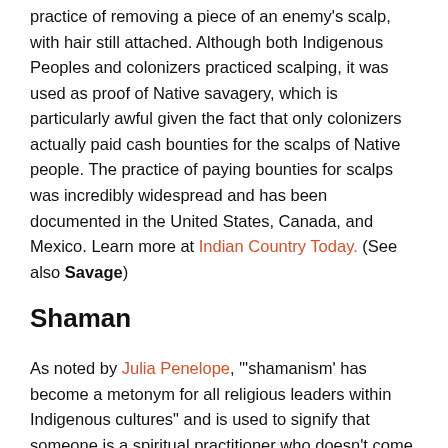practice of removing a piece of an enemy's scalp, with hair still attached. Although both Indigenous Peoples and colonizers practiced scalping, it was used as proof of Native savagery, which is particularly awful given the fact that only colonizers actually paid cash bounties for the scalps of Native people. The practice of paying bounties for scalps was incredibly widespread and has been documented in the United States, Canada, and Mexico. Learn more at Indian Country Today. (See also Savage)
Shaman
As noted by Julia Penelope, "'shamanism' has become a metonym for all religious leaders within Indigenous cultures" and is used to signify that someone is a spiritual practitioner who doesn't come from a "socially stratified 'advanced'"